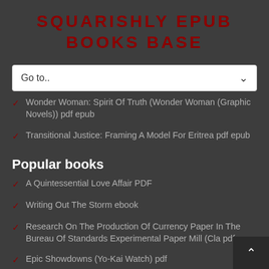SQUARISHLY EPUB BOOKS BASE
Wonder Woman: Spirit Of Truth (Wonder Woman (Graphic Novels)) pdf epub
Transitional Justice: Framing A Model For Eritrea pdf epub
Popular books
A Quintessential Love Affair PDF
Writing Out The Storm ebook
Research On The Production Of Currency Paper In The Bureau Of Standards Experimental Paper Mill (Cla pdf
Epic Showdowns (Yo-Kai Watch) pdf